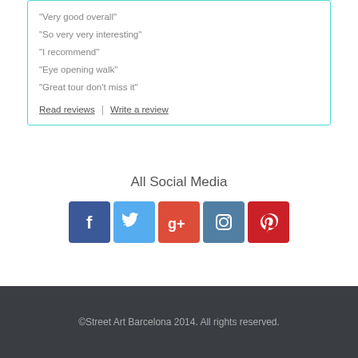“Very good overall”
“So very very interesting”
“I recommend”
“Eye opening walk”
“Great tour don’t miss it”
Read reviews | Write a review
All Social Media
[Figure (infographic): Five social media icon buttons: Facebook (blue), Twitter (light blue), Google+ (red), Instagram (steel blue), Pinterest (red)]
©Street Art Barcelona 2014. All rights reserved.